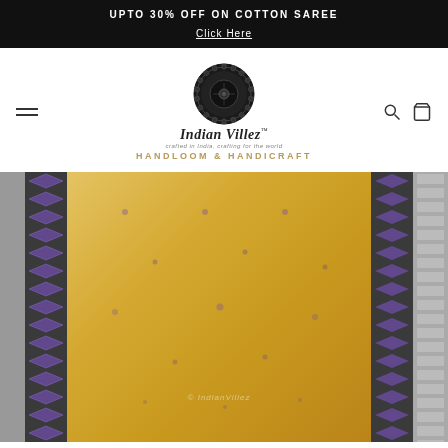UPTO 30% OFF ON COTTON SAREE
Click Here
[Figure (logo): Indian Villez logo with circular emblem, script brand name, tagline 'crafted in India, crafting for the world', and subtitle 'HANDLOOM & HANDICRAFT']
[Figure (photo): Product photo of a yellow/golden handloom saree with dark grey borders featuring purple geometric chevron/arrow patterns along the edges, displayed flat with subtle dot motifs on the body]